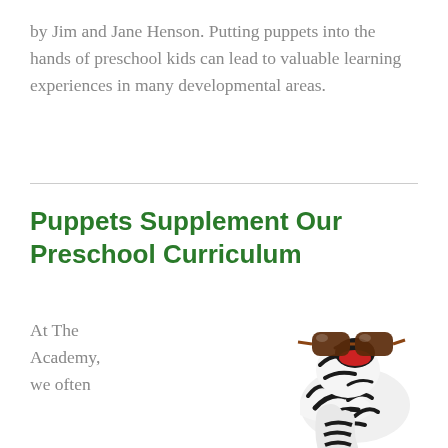by Jim and Jane Henson. Putting puppets into the hands of preschool kids can lead to valuable learning experiences in many developmental areas.
Puppets Supplement Our Preschool Curriculum
At The Academy, we often
[Figure (photo): A zebra-striped sock puppet wearing sunglasses, photographed on a white background.]